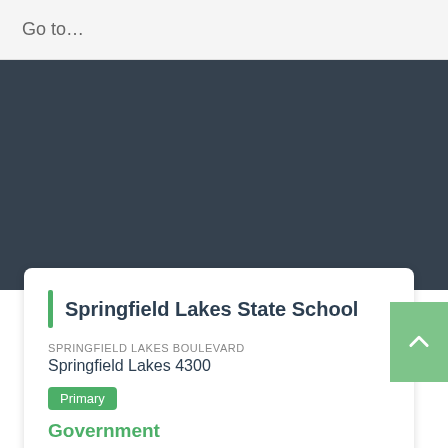Go to…
[Figure (map): Dark map area showing location context]
Springfield Lakes State School
SPRINGFIELD LAKES BOULEVARD
Springfield Lakes 4300
Primary
Government
0.41 km